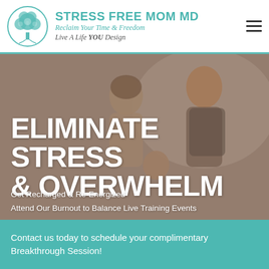[Figure (logo): Stress Free Mom MD logo: circular tree of life illustration in teal]
STRESS FREE MOM MD
Reclaim Your Time & Freedom
Live A Life YOU Design
[Figure (photo): Background photo of a family — woman, man, and child — sitting together, blurred/dimmed overlay]
ELIMINATE STRESS & OVERWHELM
Get Recharged & Re-Energized
Attend Our Burnout to Balance Live Training Events
Contact us today to schedule your complimentary Breakthrough Session!